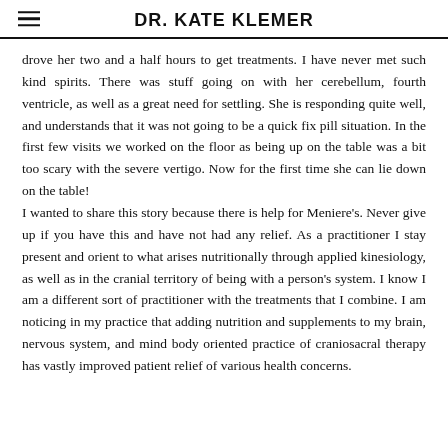DR. KATE KLEMER
drove her two and a half hours to get treatments. I have never met such kind spirits. There was stuff going on with her cerebellum, fourth ventricle, as well as a great need for settling. She is responding quite well, and understands that it was not going to be a quick fix pill situation. In the first few visits we worked on the floor as being up on the table was a bit too scary with the severe vertigo. Now for the first time she can lie down on the table!
I wanted to share this story because there is help for Meniere's. Never give up if you have this and have not had any relief. As a practitioner I stay present and orient to what arises nutritionally through applied kinesiology, as well as in the cranial territory of being with a person's system. I know I am a different sort of practitioner with the treatments that I combine. I am noticing in my practice that adding nutrition and supplements to my brain, nervous system, and mind body oriented practice of craniosacral therapy has vastly improved patient relief of various health concerns.